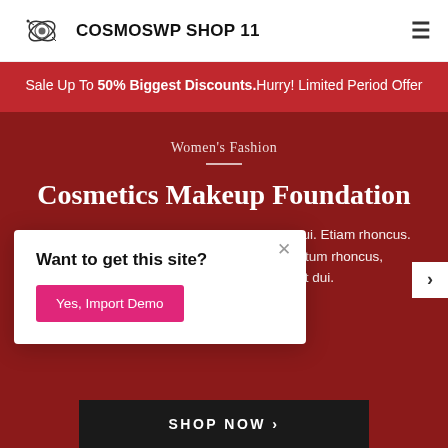COSMOSWP SHOP 11
Sale Up To 50% Biggest Discounts.Hurry! Limited Period Offer
Cosmetics Makeup Foundation
Women's Fashion
Curabitur ullamcorper ultricies nisi. Nam eget dui. Etiam rhoncus. Maecenas tempus, tellus eget condimentum rhoncus, sem quam semper libero, Curabitur ullamcorper ultricies Nam eget dui.
Want to get this site?
Yes, Import Demo
SHOP NOW >